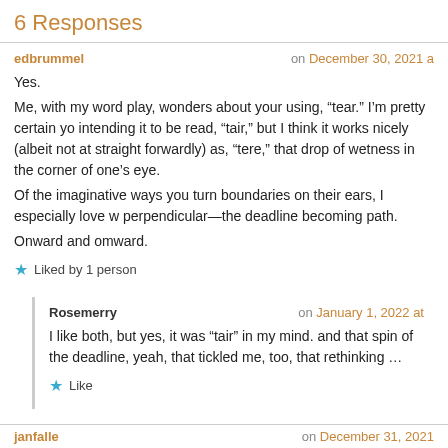6 Responses
edbrummel on December 30, 2021 a
Yes.
Me, with my word play, wonders about your using, “tear.” I’m pretty certain yo intending it to be read, “tair,” but I think it works nicely (albeit not at straight forwardly) as, “tere,” that drop of wetness in the corner of one’s eye.
Of the imaginative ways you turn boundaries on their ears, I especially love w perpendicular—the deadline becoming path.
Onward and omward.
Liked by 1 person
Rosemerry on January 1, 2022 at
I like both, but yes, it was “tair” in my mind. and that spin of the deadline, yeah, that tickled me, too, that rethinking …
Like
janfalle on December 31, 2021